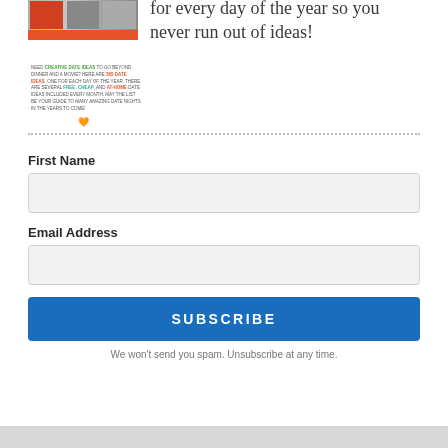[Figure (illustration): Small thumbnail of a book/magazine cover with orange bar and small text about creative date ideas and 365 date ideas, with a heart icon below]
for every day of the year so you never run out of ideas!
First Name
Email Address
SUBSCRIBE
We won't send you spam. Unsubscribe at any time.